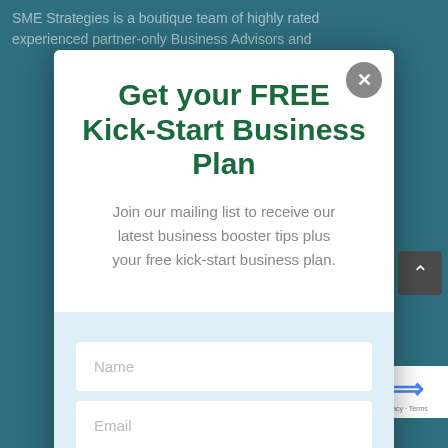SME Strategies is a boutique team of highly rated experienced partner-only Business Advisors and
Get your FREE Kick-Start Business Plan
Join our mailing list to receive our latest business booster tips plus your free kick-start business plan.
Name
Email
Skype